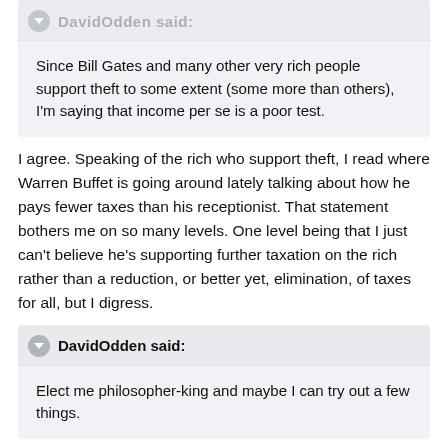DavidOdden said:
Since Bill Gates and many other very rich people support theft to some extent (some more than others), I'm saying that income per se is a poor test.
I agree. Speaking of the rich who support theft, I read where Warren Buffet is going around lately talking about how he pays fewer taxes than his receptionist. That statement bothers me on so many levels. One level being that I just can't believe he's supporting further taxation on the rich rather than a reduction, or better yet, elimination, of taxes for all, but I digress.
DavidOdden said:
Elect me philosopher-king and maybe I can try out a few things.
You could not be any worse that what we've got going on now!